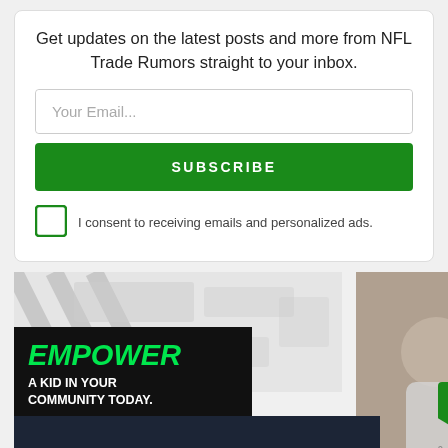Get updates on the latest posts and more from NFL Trade Rumors straight to your inbox.
Your Email...
SUBSCRIBE
I consent to receiving emails and personalized ads.
[Figure (infographic): Advertisement banner with 'EMPOWER A KID IN YOUR COMMUNITY TODAY.' text on black background with green diagonal stripes, alongside a photo of an adult and child looking at something together. Close button visible. Heart and share icons on right sidebar.]